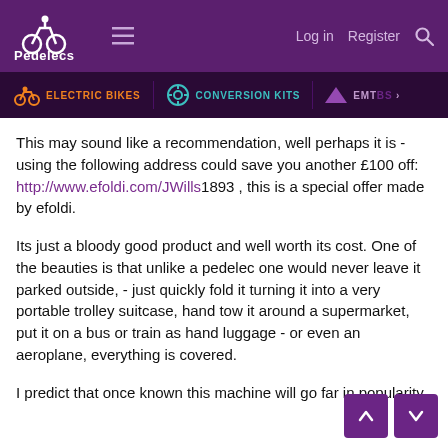Pedelecs — Log in  Register  [search]
ELECTRIC BIKES   CONVERSION KITS   EMTBS >
This may sound like a recommendation, well perhaps it is - using the following address could save you another £100 off: http://www.efoldi.com/JWills1893 , this is a special offer made by efoldi.
Its just a bloody good product and well worth its cost. One of the beauties is that unlike a pedelec one would never leave it parked outside, - just quickly fold it turning it into a very portable trolley suitcase, hand tow it around a supermarket, put it on a bus or train as hand luggage - or even an aeroplane, everything is covered.
I predict that once known this machine will go far in popularity.